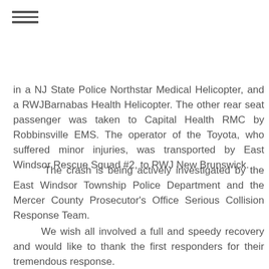≡
in a NJ State Police Northstar Medical Helicopter, and a RWJBarnabas Health Helicopter. The other rear seat passenger was taken to Capital Health RMC by Robbinsville EMS. The operator of the Toyota, who suffered minor injuries, was transported by East Windsor Rescue Squad #2, to RWJ New Brunswick.
The crash is being actively investigated by the East Windsor Township Police Department and the Mercer County Prosecutor's Office Serious Collision Response Team.
We wish all involved a full and speedy recovery and would like to thank the first responders for their tremendous response.